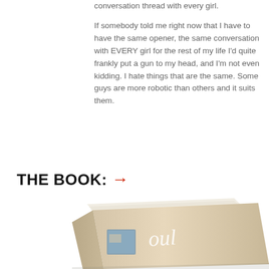conversation thread with every girl.

If somebody told me right now that I have to have the same opener, the same conversation with EVERY girl for the rest of my life I'd quite frankly put a gun to my head, and I'm not even kidding. I hate things that are the same. Some guys are more robotic than others and it suits them.
THE BOOK: →
[Figure (photo): A book shown at an angle, cover partially visible with handwritten-style text on a beige/cream cover, and a small image inset on the left side of the cover.]